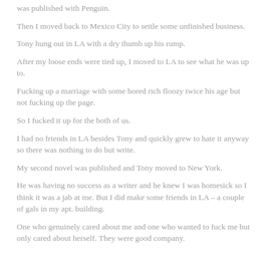was published with Penguin.
Then I moved back to Mexico City to settle some unfinished business.
Tony hung out in LA with a dry thumb up his rump.
After my loose ends were tied up, I moved to LA to see what he was up to.
Fucking up a marriage with some bored rich floozy twice his age but not fucking up the page.
So I fucked it up for the both of us.
I had no friends in LA besides Tony and quickly grew to hate it anyway so there was nothing to do but write.
My second novel was published and Tony moved to New York.
He was having no success as a writer and he knew I was homesick so I think it was a jab at me. But I did make some friends in LA – a couple of gals in my apt. building.
One who genuinely cared about me and one who wanted to fuck me but only cared about herself. They were good company.